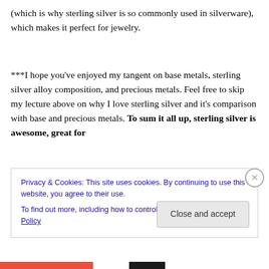(which is why sterling silver is so commonly used in silverware), which makes it perfect for jewelry.
***I hope you've enjoyed my tangent on base metals, sterling silver alloy composition, and precious metals. Feel free to skip my lecture above on why I love sterling silver and it's comparison with base and precious metals. To sum it all up, sterling silver is awesome, great for
Privacy & Cookies: This site uses cookies. By continuing to use this website, you agree to their use.
To find out more, including how to control cookies, see here: Cookie Policy
Close and accept